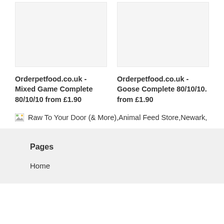[Figure (other): Product image placeholder box (light grey rectangle) for Mixed Game Complete 80/10/10]
[Figure (other): Product image placeholder box (light grey rectangle) for Goose Complete 80/10/10]
Orderpetfood.co.uk - Mixed Game Complete 80/10/10 from £1.90
Orderpetfood.co.uk - Goose Complete 80/10/10. from £1.90
[Figure (other): Broken image icon followed by text: Raw To Your Door (& More),Animal Feed Store,Newark,]
Pages
Home